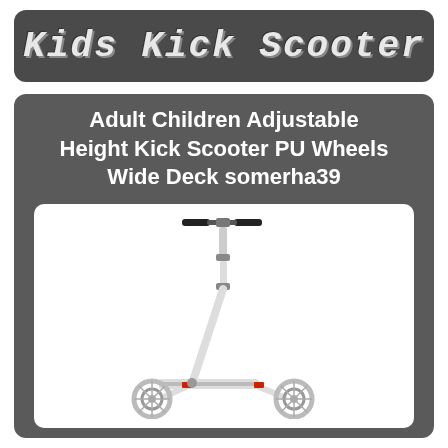Kids Kick Scooter
Adult Children Adjustable Height Kick Scooter PU Wheels Wide Deck somerha39
[Figure (photo): White kick scooter with adjustable handlebar, wide deck, and large PU wheels on a white background]